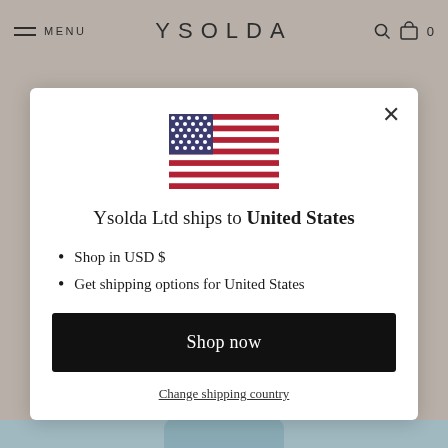MENU  YSOLDA  0
[Figure (screenshot): US flag emoji/icon displayed in the modal]
Ysolda Ltd ships to United States
Shop in USD $
Get shipping options for United States
Shop now
Change shipping country